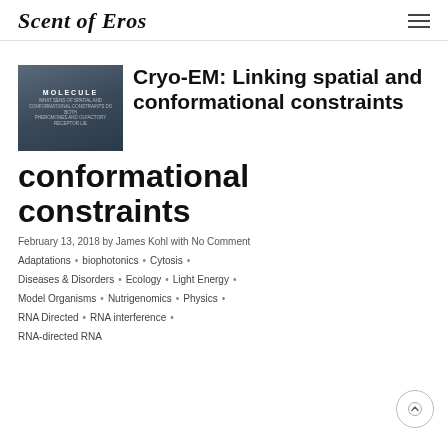Scent of Eros
[Figure (photo): Thumbnail image of a person with overlay text reading MOLECULE and small caption text about spatial and conformational constraints]
Cryo-EM: Linking spatial and conformational constraints
February 13, 2018 by James Kohl with No Comment
Adaptations • biophotonics • Cytosis • Diseases & Disorders • Ecology • Light Energy • Model Organisms • Nutrigenomics • Physics • RNA Directed • RNA interference • RNA-directed RNA...